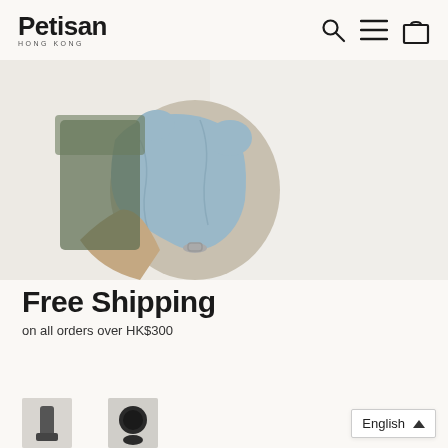Petisan HONG KONG
[Figure (photo): Photo of a dog wearing a light blue pet garment/raincoat, viewed from behind, held by a person]
Free Shipping
on all orders over HK$300
You may also like
[Figure (screenshot): Language selector dropdown showing 'English' with an up arrow]
[Figure (photo): Small product thumbnail at the bottom left]
[Figure (photo): Small product thumbnail at the bottom center]